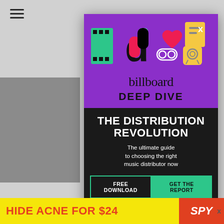[Figure (screenshot): Billboard Deep Dive modal advertisement overlay on a webpage. Purple top section with TikTok and social media icons, 'billboard DEEP DIVE' branding. Black lower section with headline 'THE DISTRIBUTION REVOLUTION', subtext 'The ultimate guide to choosing the right music distributor now', and two buttons: 'FREE DOWNLOAD' and 'GET THE REPORT'. Bottom of page shows a yellow 'HIDE ACNE FOR $24' advertisement banner.]
Today (D... fans regarding... et's upcomin... s on other So... ption of Wendy,... hly participa... collabor... n
Glam
HIDE ACNE FOR $24